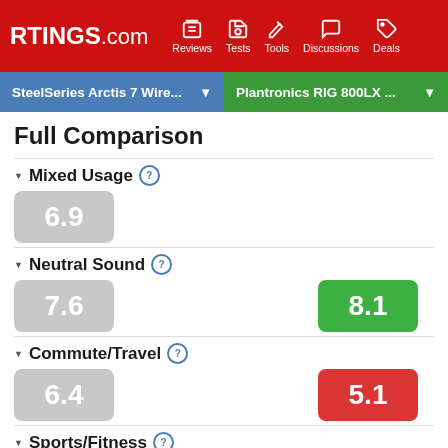RTINGS.com — Reviews, Tests, Tools, Discussions, Deals
SteelSeries Arctis 7 Wire... | Plantronics RIG 800LX ...
Full Comparison
Mixed Usage
6.9
Neutral Sound
7.6 | 8.1
Commute/Travel
6.4 | 5.1
Sports/Fitness
6.5 | 6.0
Office